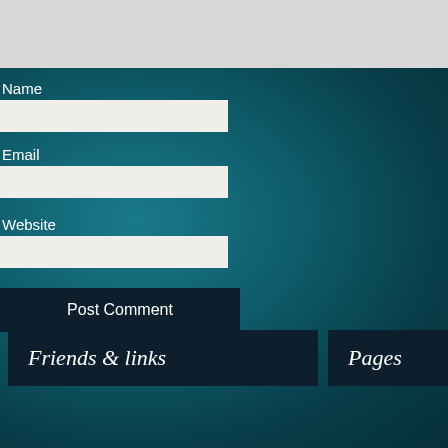Name
Email
Website
Post Comment
Friends & links
Pages